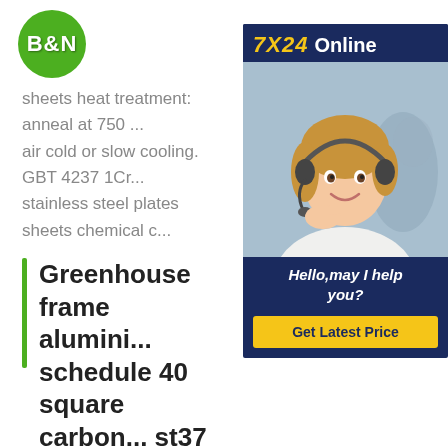B&N
sheets heat treatment: anneal at 750 ... air cold or slow cooling. GBT 4237 1Cr... stainless steel plates sheets chemical c...
Greenhouse frame alumini... schedule 40 square carbon... st37 2 dbensity steel plate...
[Figure (photo): 7X24 Online chat widget with a smiling female customer service representative wearing a headset. Dark navy blue background. Includes greeting 'Hello,may I help you?' and a yellow 'Get Latest Price' button.]
Get Quote - Min.Order Quantity 1 Ton/... Payment Terms L/C,T/T,Western Union - Delivery Detail:Shipped in 20~30 days after payment - Packaging Details plastic bag covers every pipe , woven bag or wooden case outside, according to customer's request. Hi-Tec GlobalTECHNOLOGY.